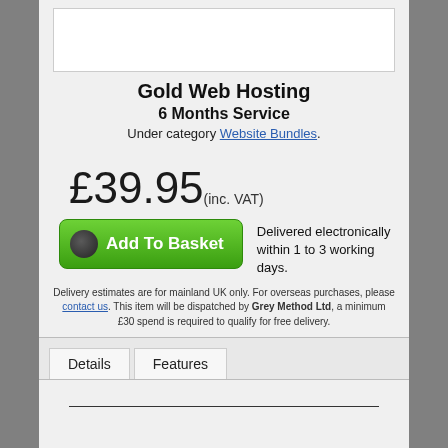[Figure (other): White rectangular image placeholder box at top]
Gold Web Hosting
6 Months Service
Under category Website Bundles.
£39.95 (inc. VAT)
Add To Basket   Delivered electronically within 1 to 3 working days.
Delivery estimates are for mainland UK only. For overseas purchases, please contact us. This item will be dispatched by Grey Method Ltd, a minimum £30 spend is required to qualify for free delivery.
Details   Features